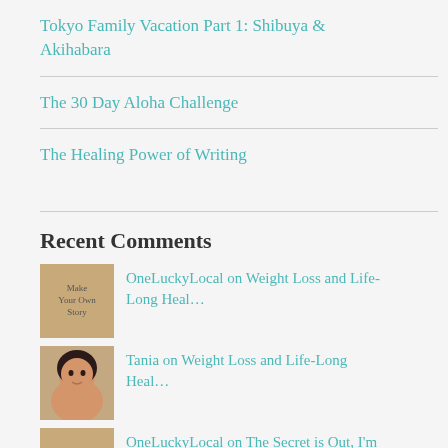Tokyo Family Vacation Part 1: Shibuya & Akihabara
The 30 Day Aloha Challenge
The Healing Power of Writing
Recent Comments
OneLuckyLocal on Weight Loss and Life-Long Heal…
Tania on Weight Loss and Life-Long Heal…
OneLuckyLocal on The Secret is Out, I'm a…